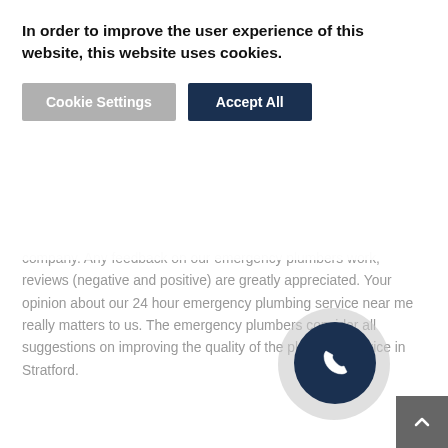company. Any feedback on our emergency plumbers work, reviews (negative and positive) are greatly appreciated. Your opinion about our 24 hour emergency plumbing service near me really matters to us. The emergency plumbers consider all suggestions on improving the quality of the plumbing service in Stratford.
STRATFORD EMERGENCY PLUMBERS NEAR YOU
Call plumber Stratford for heating and plumbing services ranging from the elimination of small leaks to major projects involving renovation and redesign of the existing water supply
In order to improve the user experience of this website, this website uses cookies.
Cookie Settings
Accept All